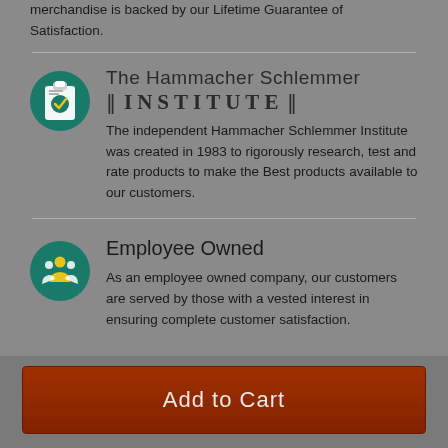merchandise is backed by our Lifetime Guarantee of Satisfaction.
[Figure (logo): Hammacher Schlemmer Institute logo with teal circular icon showing a clipboard with checkmark]
The Hammacher Schlemmer INSTITUTE
The independent Hammacher Schlemmer Institute was created in 1983 to rigorously research, test and rate products to make the Best products available to our customers.
[Figure (illustration): Teal circular icon with employee/people group silhouettes in yellow and white]
Employee Owned
As an employee owned company, our customers are served by those with a vested interest in ensuring complete customer satisfaction.
Add to Cart